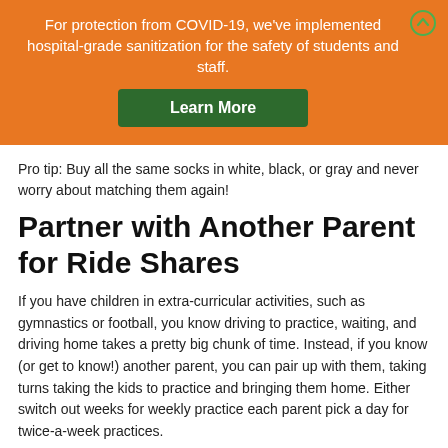For protection from COVID-19, we've implemented hospital-grade sanitization for the safety of students and staff.
Learn More
Pro tip: Buy all the same socks in white, black, or gray and never worry about matching them again!
Partner with Another Parent for Ride Shares
If you have children in extra-curricular activities, such as gymnastics or football, you know driving to practice, waiting, and driving home takes a pretty big chunk of time. Instead, if you know (or get to know!) another parent, you can pair up with them, taking turns taking the kids to practice and bringing them home. Either switch out weeks for weekly practice each parent pick a day for twice-a-week practices.
Contact Us About Enrolling Your